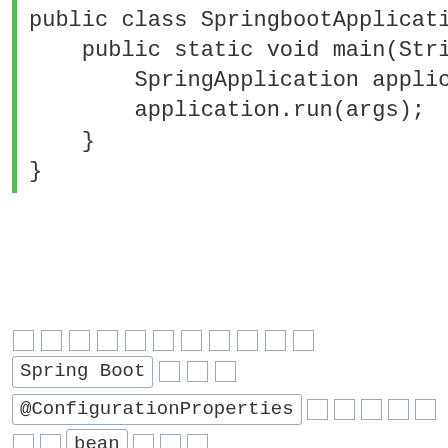public class SpringbootApplication {
    public static void main(String[] args) {
        SpringApplication application = new Sprin
        application.run(args);
    }
}
以上就是一个标准的 Spring Boot 启动类
@ConfigurationProperties 注解生效需要 bean 注入
UserProperties 作为配置属性类使用
@EnableConfigurationProperties(value = {User
@ConfigurationPropertiesScan(basePackageCla